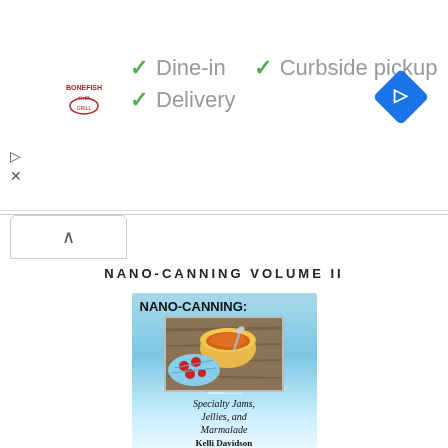[Figure (screenshot): Ad banner for Bonefish Grill showing logo, checkmarks for Dine-in, Curbside pickup, and Delivery options, and a blue navigation diamond icon]
✓ Dine-in  ✓ Curbside pickup
✓ Delivery
NANO-CANNING VOLUME II
[Figure (photo): Book cover for NANO-CANNING: Specialty Jams, Jellies, and Marmalade by Kelli Davidson. Light blue gradient background with photo of jam in a yellow bowl with a spoon and decorative cloth.]